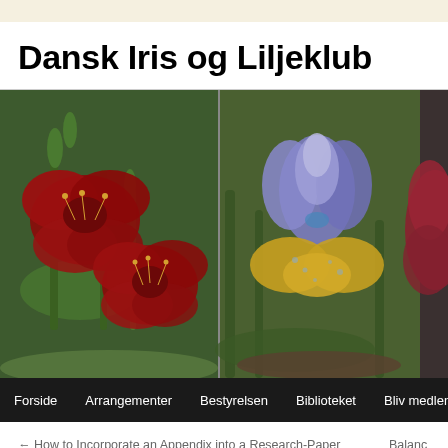Dansk Iris og Liljeklub
[Figure (photo): Three flower photos side by side: red lily flowers on left, purple and yellow iris in center, dark red flower partially visible on right]
Forside   Arrangementer   Bestyrelsen   Biblioteket   Bliv medlem
← How to Incorporate an Appendix into a Research-Paper    Balanc
Seven Points With regards to Effective N